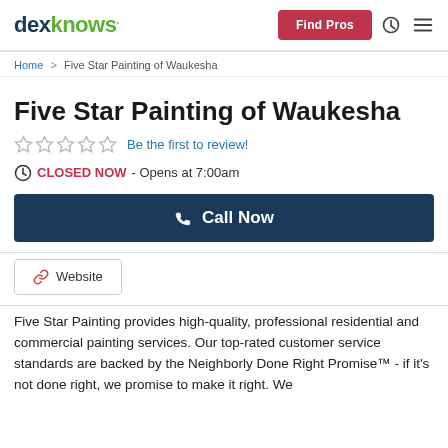dexknows | Find Pros
Home > Five Star Painting of Waukesha
Five Star Painting of Waukesha
Be the first to review!
CLOSED NOW - Opens at 7:00am
Call Now
Website
Five Star Painting provides high-quality, professional residential and commercial painting services. Our top-rated customer service standards are backed by the Neighborly Done Right Promise™ - if it's not done right, we promise to make it right. We